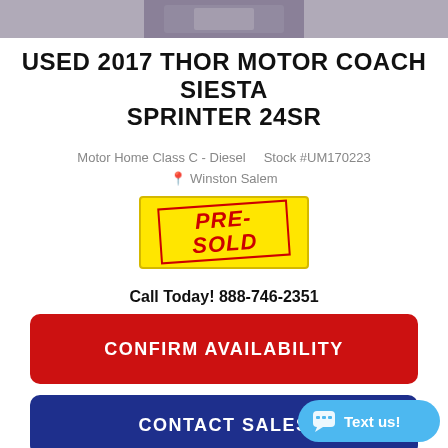[Figure (photo): Partial photo of a vehicle interior/exterior, cropped at top of page]
USED 2017 THOR MOTOR COACH SIESTA SPRINTER 24SR
Motor Home Class C - Diesel    Stock #UM170223
📍 Winston Salem
[Figure (other): PRE-SOLD stamp badge in yellow box with red italic bold text and red border]
Call Today! 888-746-2351
CONFIRM AVAILABILITY
CONTACT SALES